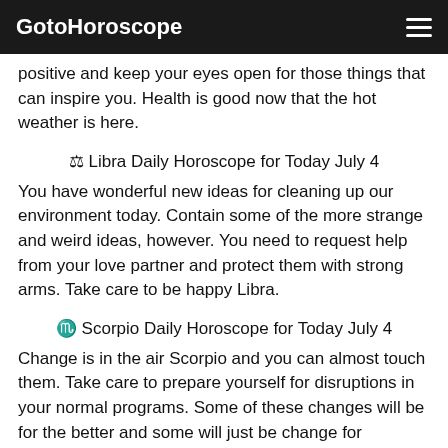GotoHoroscope
positive and keep your eyes open for those things that can inspire you. Health is good now that the hot weather is here.
♎ Libra Daily Horoscope for Today July 4
You have wonderful new ideas for cleaning up our environment today. Contain some of the more strange and weird ideas, however. You need to request help from your love partner and protect them with strong arms. Take care to be happy Libra.
♏ Scorpio Daily Horoscope for Today July 4
Change is in the air Scorpio and you can almost touch them. Take care to prepare yourself for disruptions in your normal programs. Some of these changes will be for the better and some will just be change for change's sake. It is great to be alive!